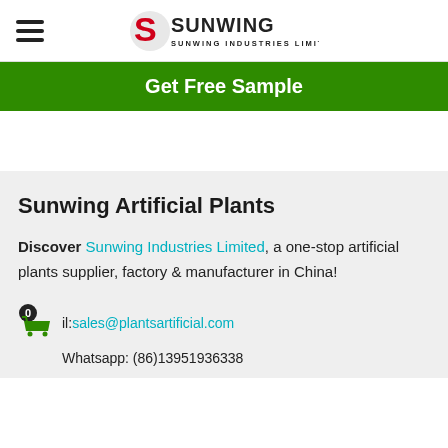Sunwing Industries Limited
Get Free Sample
Sunwing Artificial Plants
Discover Sunwing Industries Limited, a one-stop artificial plants supplier, factory & manufacturer in China!
Email: sales@plantsartificial.com
Whatsapp: (86)13951936338